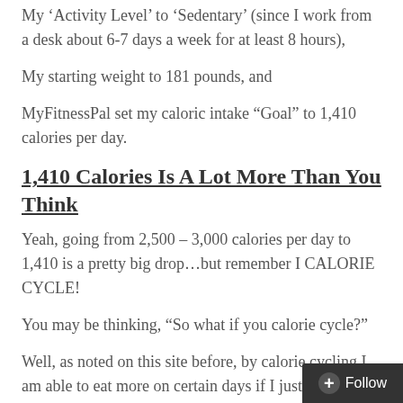My ‘Activity Level’ to ‘Sedentary’ (since I work from a desk about 6-7 days a week for at least 8 hours),
My starting weight to 181 pounds, and
MyFitnessPal set my caloric intake “Goal” to 1,410 calories per day.
1,410 Calories Is A Lot More Than You Think
Yeah, going from 2,500 – 3,000 calories per day to 1,410 is a pretty big drop…but remember I CALORIE CYCLE!
You may be thinking, “So what if you calorie cycle?”
Well, as noted on this site before, by calorie cycling I am able to eat more on certain days if I just eat a bit less on other.
So, if I want, I can have that